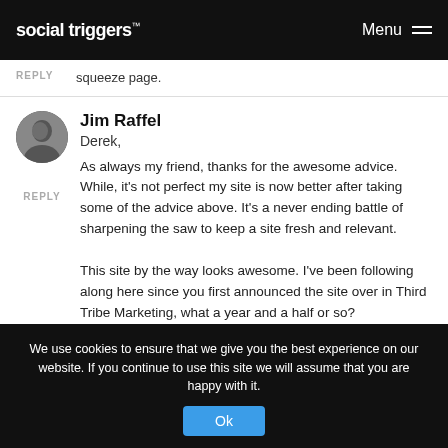social triggers™  Menu
squeeze page.
REPLY
Jim Raffel
Derek,
REPLY
As always my friend, thanks for the awesome advice. While, it's not perfect my site is now better after taking some of the advice above. It's a never ending battle of sharpening the saw to keep a site fresh and relevant.

This site by the way looks awesome. I've been following along here since you first announced the site over in Third Tribe Marketing, what a year and a half or so?
We use cookies to ensure that we give you the best experience on our website. If you continue to use this site we will assume that you are happy with it.